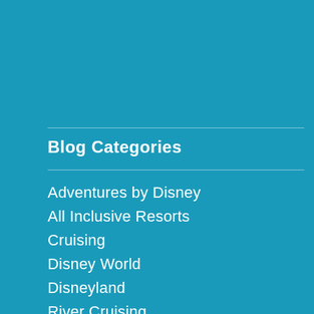Blog Categories
Adventures by Disney
All Inclusive Resorts
Cruising
Disney World
Disneyland
River Cruising
Travel Tips
Universal Studios